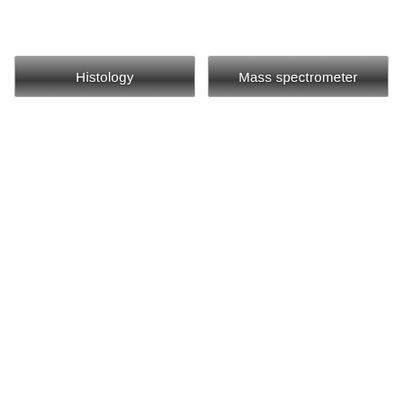[Figure (other): Two grey gradient header buttons side by side: 'Histology' on the left and 'Mass spectrometer' on the right]